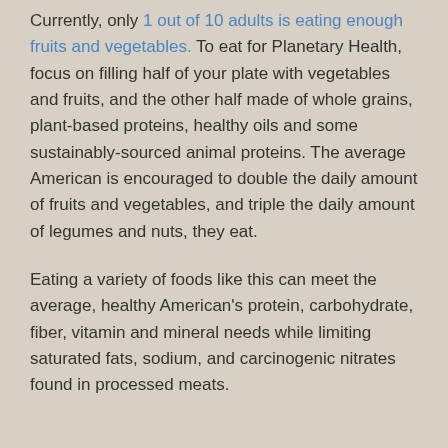Currently, only 1 out of 10 adults is eating enough fruits and vegetables. To eat for Planetary Health, focus on filling half of your plate with vegetables and fruits, and the other half made of whole grains, plant-based proteins, healthy oils and some sustainably-sourced animal proteins. The average American is encouraged to double the daily amount of fruits and vegetables, and triple the daily amount of legumes and nuts, they eat.
Eating a variety of foods like this can meet the average, healthy American's protein, carbohydrate, fiber, vitamin and mineral needs while limiting saturated fats, sodium, and carcinogenic nitrates found in processed meats.